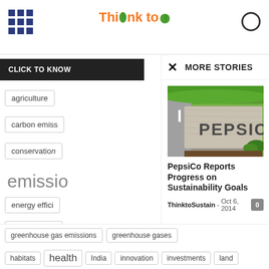ThinktoSustain
MORE STORIES
[Figure (photo): PepsiCo granite sign in front of green bushes and lawn]
PepsiCo Reports Progress on Sustainability Goals
ThinktoSustain - Oct 6, 2014
agriculture
carbon emiss...
conservation...
emissio...
energy effici...
food security
greenhouse gas emissions
greenhouse gases
habitats
health
India
innovation
investments
land